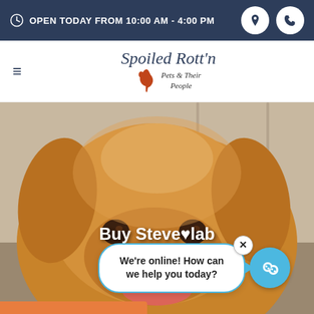OPEN TODAY FROM 10:00 AM - 4:00 PM
[Figure (logo): Spoiled Rott'n Pets & Their People logo with golden retriever silhouette]
[Figure (photo): Close-up photo of a golden retriever dog looking at the camera, warm brown tones]
Buy Steve...lab in...
We're online! How can we help you today?